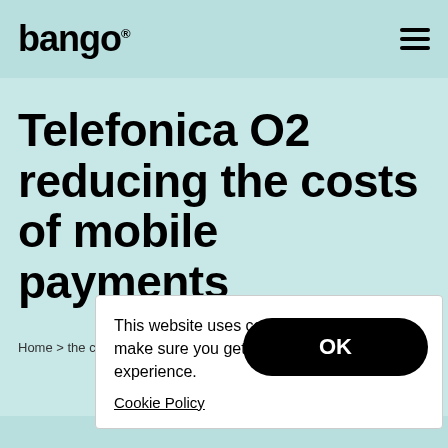bango®
Telefonica O2 reducing the costs of mobile payments
Home ... the co...
This website uses cookies to make sure you get the best experience.
Cookie Policy
OK